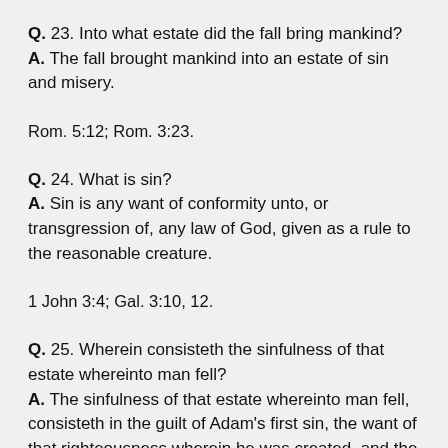Q. 23. Into what estate did the fall bring mankind? A. The fall brought mankind into an estate of sin and misery.
Rom. 5:12; Rom. 3:23.
Q. 24. What is sin? A. Sin is any want of conformity unto, or transgression of, any law of God, given as a rule to the reasonable creature.
1 John 3:4; Gal. 3:10, 12.
Q. 25. Wherein consisteth the sinfulness of that estate whereinto man fell? A. The sinfulness of that estate whereinto man fell, consisteth in the guilt of Adam's first sin, the want of that righteousness wherein he was created, and the corruption of his nature, whereby he is utterly indisposed, disabled, and made opposite unto all that is spiritually good, and wholly